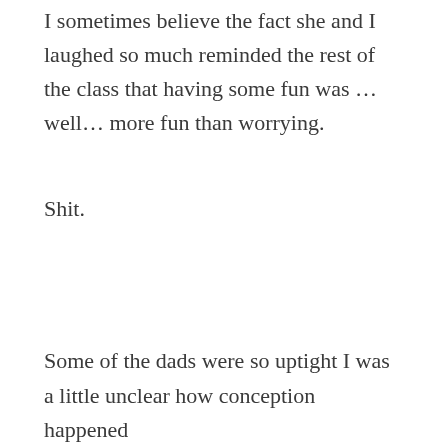I sometimes believe the fact she and I laughed so much reminded the rest of the class that having some fun was … well… more fun than worrying.
Shit.
Some of the dads were so uptight I was a little unclear how conception happened